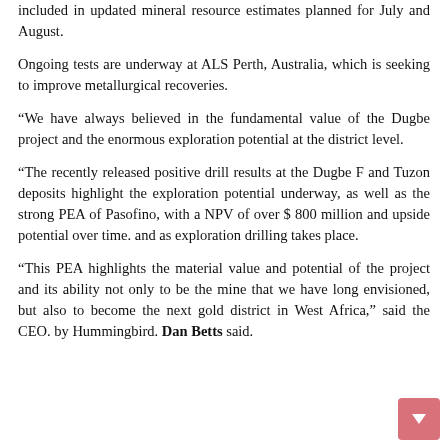included in updated mineral resource estimates planned for July and August.
Ongoing tests are underway at ALS Perth, Australia, which is seeking to improve metallurgical recoveries.
“We have always believed in the fundamental value of the Dugbe project and the enormous exploration potential at the district level.
“The recently released positive drill results at the Dugbe F and Tuzon deposits highlight the exploration potential underway, as well as the strong PEA of Pasofino, with a NPV of over $ 800 million and upside potential over time. and as exploration drilling takes place.
“This PEA highlights the material value and potential of the project and its ability not only to be the mine that we have long envisioned, but also to become the next gold district in West Africa,” said the CEO. by Hummingbird. Dan Betts said.